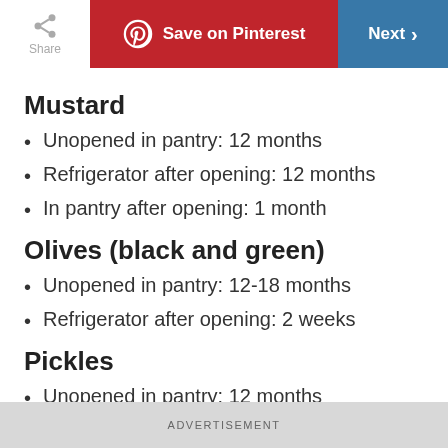Share | Save on Pinterest | Next
Mustard
Unopened in pantry: 12 months
Refrigerator after opening: 12 months
In pantry after opening: 1 month
Olives (black and green)
Unopened in pantry: 12-18 months
Refrigerator after opening: 2 weeks
Pickles
Unopened in pantry: 12 months
ADVERTISEMENT